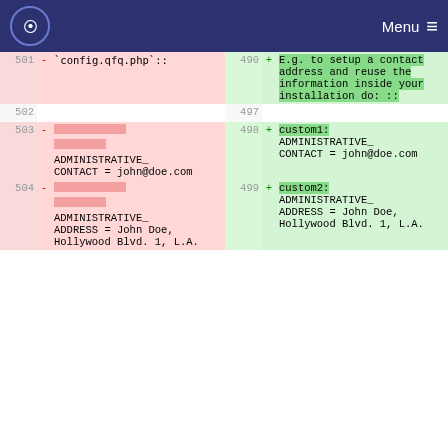Menu
| line-old | sign | content-old | line-new | sign | content-new |
| --- | --- | --- | --- | --- | --- |
| 501 | - | `config.qfq.php`:: | 490 | + | E.g. to setup a contact address and reuse the information inside your installation do: :: |
| 502 |  |  | 497 |  |  |
| 503 | - | [redacted] ADMINISTRATIVE_CONTACT = john@doe.com | 498 | + | custom1: ADMINISTRATIVE_CONTACT = john@doe.com |
| 504 | - | [redacted] ADMINISTRATIVE_ADDRESS = John Doe, Hollywood Blvd. 1, L.A. | 499 | + | custom2: ADMINISTRATIVE_ADDRESS = John Doe, Hollywood Blvd. 1, L.A. |